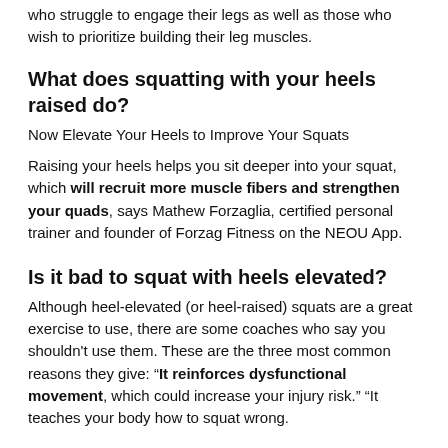who struggle to engage their legs as well as those who wish to prioritize building their leg muscles.
What does squatting with your heels raised do?
Now Elevate Your Heels to Improve Your Squats
Raising your heels helps you sit deeper into your squat, which will recruit more muscle fibers and strengthen your quads, says Mathew Forzaglia, certified personal trainer and founder of Forzag Fitness on the NEOU App.
Is it bad to squat with heels elevated?
Although heel-elevated (or heel-raised) squats are a great exercise to use, there are some coaches who say you shouldn't use them. These are the three most common reasons they give: “It reinforces dysfunctional movement, which could increase your injury risk.” “It teaches your body how to squat wrong.